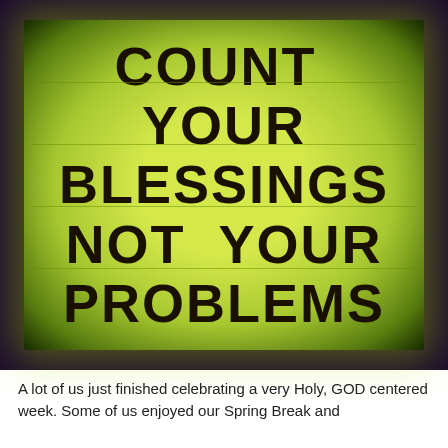[Figure (photo): A illuminated yellow-green church or business marquee sign with bold black capital letters reading: COUNT YOUR BLESSINGS NOT YOUR PROBLEMS. The sign has a bright yellow-green background with dark vignette edges, horizontal lines across the sign, photographed in low light conditions giving a glowing effect.]
A lot of us just finished celebrating a very Holy, GOD centered week. Some of us enjoyed our Spring Break and